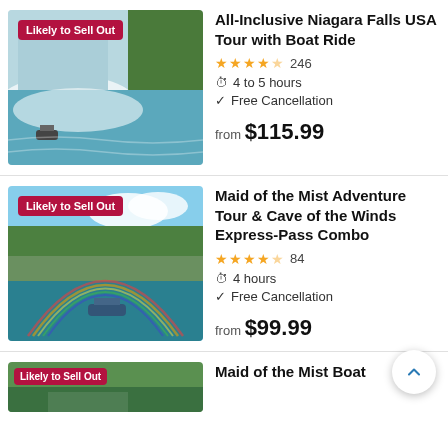[Figure (photo): Niagara Falls waterfall with boat in foreground, aerial view with mist]
All-Inclusive Niagara Falls USA Tour with Boat Ride
4.5 stars, 246 reviews
4 to 5 hours
Free Cancellation
from $115.99
[Figure (photo): Aerial view of Niagara Falls area with Maid of the Mist boat and rainbow]
Maid of the Mist Adventure Tour & Cave of the Winds Express-Pass Combo
4.5 stars, 84 reviews
4 hours
Free Cancellation
from $99.99
[Figure (photo): Partial view of Niagara Falls area, bottom of page, with badge 'Likely to Sell Out']
Maid of the Mist Boat